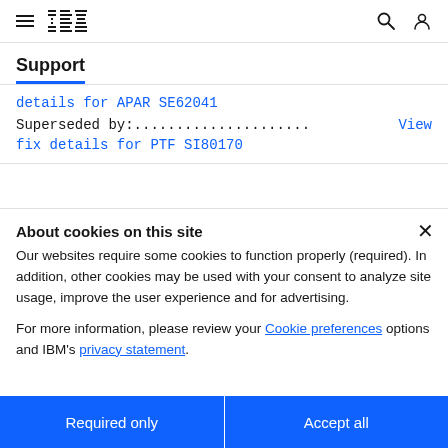IBM Support
Support
details for APAR SE62041
Superseded by:.................... View fix details for PTF SI80170
About cookies on this site
Our websites require some cookies to function properly (required). In addition, other cookies may be used with your consent to analyze site usage, improve the user experience and for advertising.

For more information, please review your Cookie preferences options and IBM's privacy statement.
Required only
Accept all